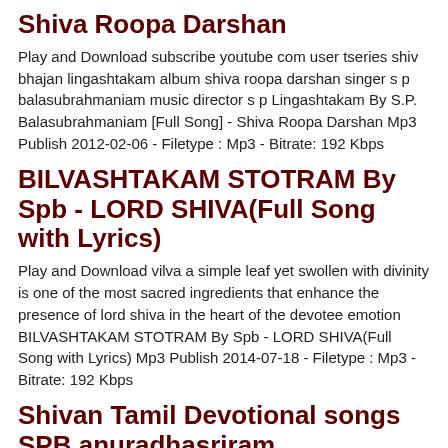Shiva Roopa Darshan
Play and Download subscribe youtube com user tseries shiv bhajan lingashtakam album shiva roopa darshan singer s p balasubrahmaniam music director s p Lingashtakam By S.P. Balasubrahmaniam [Full Song] - Shiva Roopa Darshan Mp3 Publish 2012-02-06 - Filetype : Mp3 - Bitrate: 192 Kbps
BILVASHTAKAM STOTRAM By Spb - LORD SHIVA(Full Song with Lyrics)
Play and Download vilva a simple leaf yet swollen with divinity is one of the most sacred ingredients that enhance the presence of lord shiva in the heart of the devotee emotion BILVASHTAKAM STOTRAM By Spb - LORD SHIVA(Full Song with Lyrics) Mp3 Publish 2014-07-18 - Filetype : Mp3 - Bitrate: 192 Kbps
Shivan Tamil Devotional songs SPB,anuradhasriram
Play and Download subscribe tamil movie youtube com user